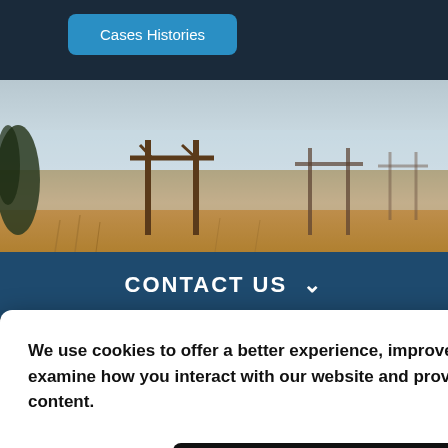Cases Histories
[Figure (photo): Outdoor landscape photo showing wooden utility pole structures in a field of dry grass with a misty/foggy background sky]
CONTACT US
LL FREE:
We use cookies to offer a better experience, improve performance, examine how you interact with our website and provide customized content.
Decline cookies
Accept cookies